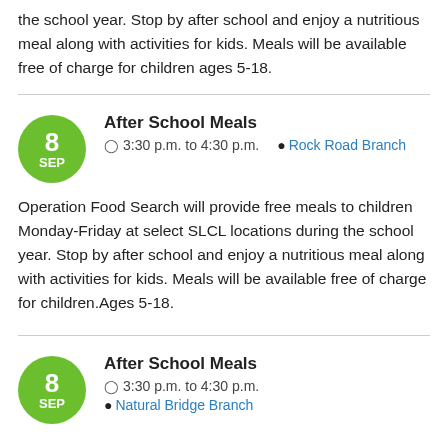the school year. Stop by after school and enjoy a nutritious meal along with activities for kids. Meals will be available free of charge for children ages 5-18.
After School Meals
3:30 p.m. to 4:30 p.m.   Rock Road Branch
Operation Food Search will provide free meals to children Monday-Friday at select SLCL locations during the school year. Stop by after school and enjoy a nutritious meal along with activities for kids. Meals will be available free of charge for children.Ages 5-18.
After School Meals
3:30 p.m. to 4:30 p.m.
Natural Bridge Branch